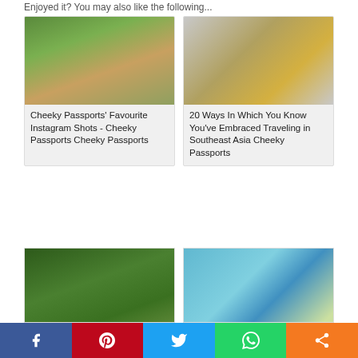Enjoyed it? You may also like the following...
[Figure (photo): Person in pink shirt photographing green hills]
Cheeky Passports' Favourite Instagram Shots - Cheeky Passports Cheeky Passports
[Figure (photo): Rows of golden Buddha statues]
20 Ways In Which You Know You've Embraced Traveling in Southeast Asia Cheeky Passports
[Figure (photo): People on a river in a jungle]
50 Philippines Travel...
[Figure (photo): Romantic beach setup with leaf heart and red table]
Most Romantic...